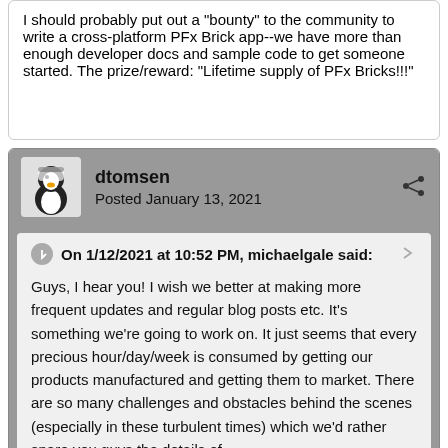I should probably put out a "bounty" to the community to write a cross-platform PFx Brick app--we have more than enough developer docs and sample code to get someone started.  The prize/reward:  "Lifetime supply of PFx Bricks!!!"
dtomsen
Posted January 13, 2021
On 1/12/2021 at 10:52 PM, michaelgale said:
Guys, I hear you!  I wish we better at making more frequent updates and regular blog posts etc.  It's something we're going to work on.  It just seems that every precious hour/day/week is consumed by getting our products manufactured and getting them to market.  There are so many challenges and obstacles behind the scenes (especially in these turbulent times) which we'd rather spare you guys the details of.